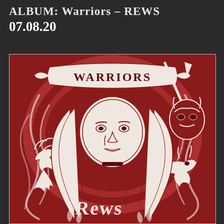ALBUM: Warriors – REWS
07.08.20
[Figure (illustration): Album cover art for 'Warriors' by REWS. A red and white linocut-style illustration showing a woman with long flowing hair in the center, surrounded by swirling wind/fire patterns, a phoenix bird on the left, a dragon on the right, and a masked figure with a spear in the upper right. A banner at the top reads 'WARRIORS' and stylized text at the bottom reads 'REWS'. The artwork is done in a stark crimson red and white two-color style.]